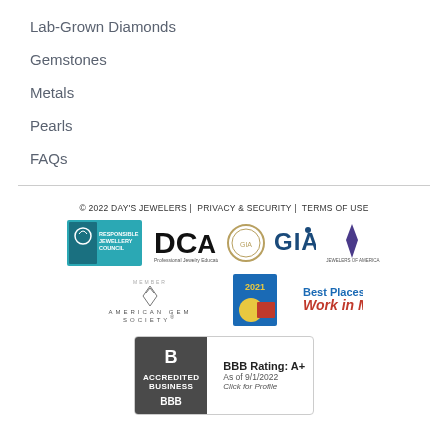Lab-Grown Diamonds
Gemstones
Metals
Pearls
FAQs
© 2022 DAY'S JEWELERS | PRIVACY & SECURITY | TERMS OF USE
[Figure (logo): Responsible Jewellery Council logo]
[Figure (logo): DCA Professional Jewelry Education logo]
[Figure (logo): GIA logo with seal]
[Figure (logo): Jewelers of America logo]
[Figure (logo): American Gem Society logo]
[Figure (logo): 2021 Best Places to Work in ME logo]
[Figure (logo): BBB Accredited Business, BBB Rating: A+, As of 9/1/2022, Click for Profile]